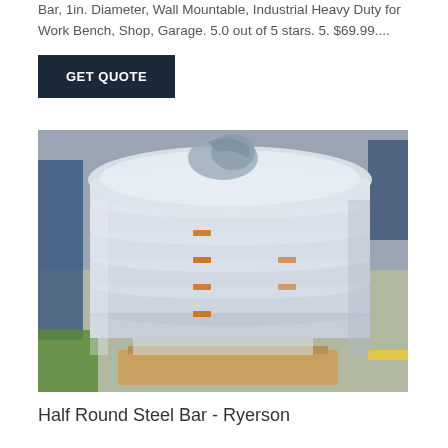Bar, 1in. Diameter, Wall Mountable, Industrial Heavy Duty for Work Bench, Shop, Garage. 5.0 out of 5 stars. 5. $69.99....
GET QUOTE
[Figure (photo): A large cylindrical stack of polished steel rings/discs wrapped partially in plastic film, sitting on a wooden pallet in an industrial warehouse setting.]
Half Round Steel Bar - Ryerson